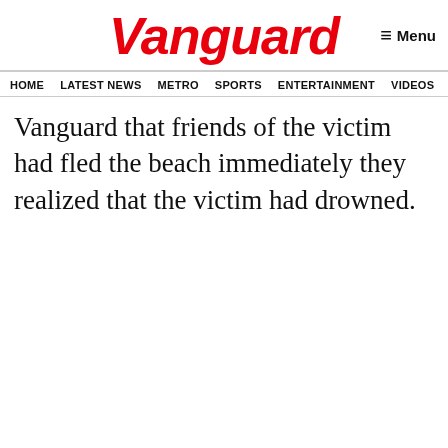Vanguard
HOME  LATEST NEWS  METRO  SPORTS  ENTERTAINMENT  VIDEOS
Vanguard that friends of the victim had fled the beach immediately they realized that the victim had drowned.